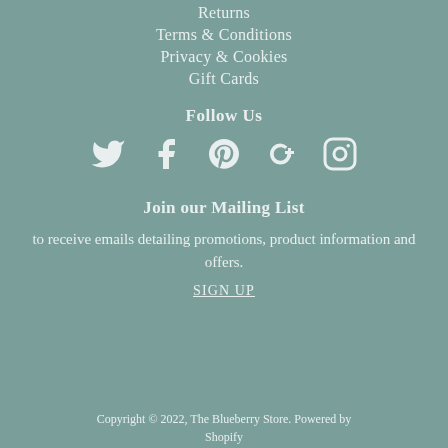Returns
Terms & Conditions
Privacy & Cookies
Gift Cards
Follow Us
[Figure (infographic): Social media icons: Twitter, Facebook, Pinterest, Google+, Instagram]
Join our Mailing List
to receive emails detailing promotions, product information and offers.
SIGN UP
Copyright © 2022, The Blueberry Store. Powered by Shopify